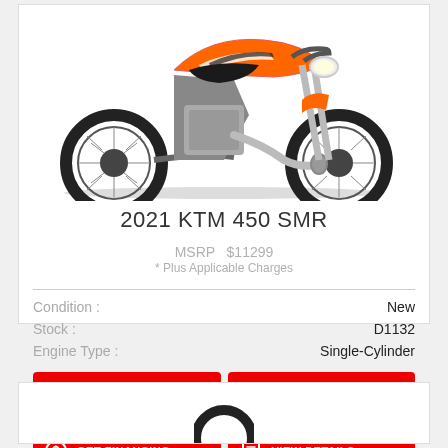[Figure (photo): 2021 KTM 450 SMR supermoto motorcycle in orange, white, and black colorway, side profile view]
2021 KTM 450 SMR
MSRP  $11299
* Plus Applicable Charges
| Condition : | New |
| --- | --- |
| Stock : | D1132 |
| Engine Type : | Single-Cylinder |
GET A QUOTE
VALUE YOUR TRADE
GET FINANCING
VIEW DETAILS